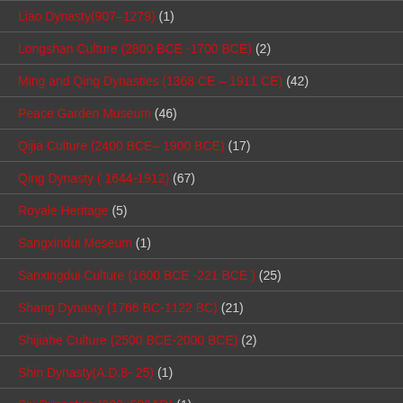Liao Dynasty(907–1279) (1)
Longshan Culture (2800 BCE -1700 BCE) (2)
Ming and Qing Dynasties (1368 CE – 1911 CE) (42)
Peace Garden Museum (46)
Qijia Culture (2400 BCE– 1900 BCE) (17)
Qing Dynasty ( 1644-1912) (67)
Royale Heritage (5)
Sangxindui Meseum (1)
Sanxingdui Culture (1600 BCE -221 BCE ) (25)
Shang Dynasty (1766 BC-1122 BC) (21)
Shijiahe Culture (2500 BCE-2000 BCE) (2)
Shin Dynasty(A.D.8- 25) (1)
Six Dynasties (222–589AD) (1)